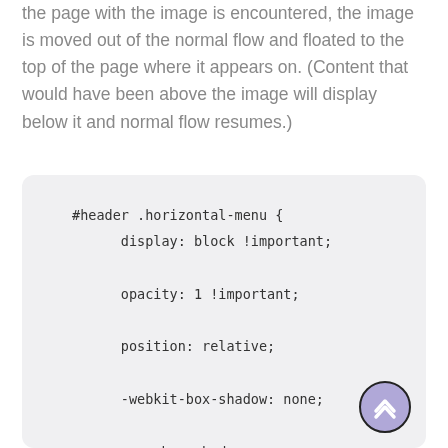the page with the image is encountered, the image is moved out of the normal flow and floated to the top of the page where it appears on. (Content that would have been above the image will display below it and normal flow resumes.)
[Figure (screenshot): Code block on light grey rounded background showing CSS for #header .horizontal-menu with properties: display: block !important; opacity: 1 !important; position: relative; -webkit-box-shadow: none; -moz-box-shadow: none; box-shadow: none;]